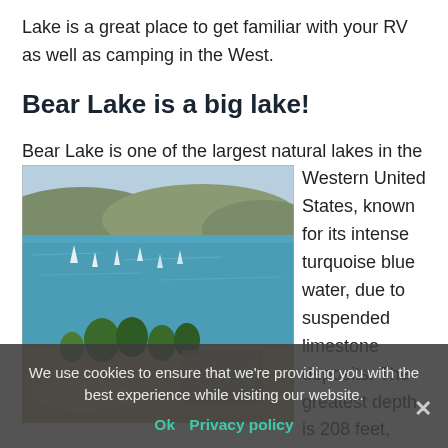Lake is a great place to get familiar with your RV as well as camping in the West.
Bear Lake is a big lake!
Bear Lake is one of the largest natural lakes in the Western United States, known for its intense turquoise blue water, due to suspended limestone deposits. The greatest depth is 208 feet, with an average depth of 208 feet. The average summer temperature of the lake is a cool 70 degrees. The lake is 20 miles long and between four to
[Figure (photo): Aerial/elevated view of Bear Lake showing turquoise blue water with boats, shoreline with trees and parking area, and hills in background.]
We use cookies to ensure that we're providing you with the best experience while visiting our website.
Ok   Privacy policy